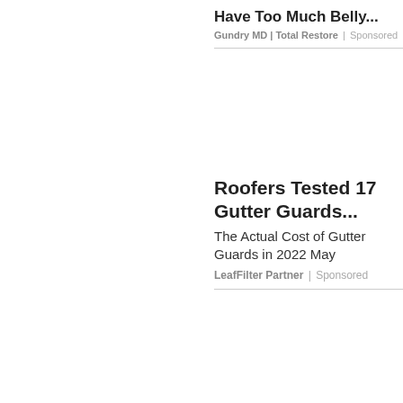Have Too Much Belly...
Gundry MD | Total Restore | Sponsored
Roofers Tested 17 Gutter Guards...
The Actual Cost of Gutter Guards in 2022 May
LeafFilter Partner | Sponsored